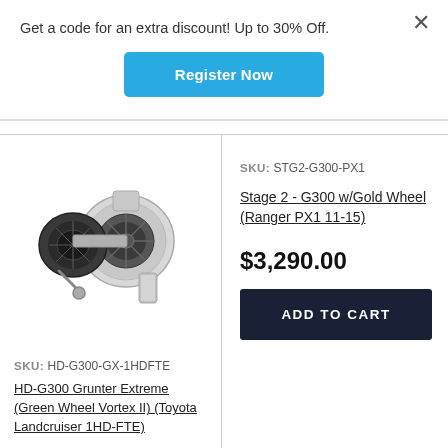Get a code for an extra discount! Up to 30% Off.
Register Now
[Figure (photo): Turbocharger product photo - silver turbo unit with black compressor housing]
SKU: HD-G300-GX-1HDFTE
HD-G300 Grunter Extreme (Green Wheel Vortex II) (Toyota Landcruiser 1HD-FTE)
SKU: STG2-G300-PX1
Stage 2 - G300 w/Gold Wheel (Ranger PX1 11-15)
$3,290.00
ADD TO CART